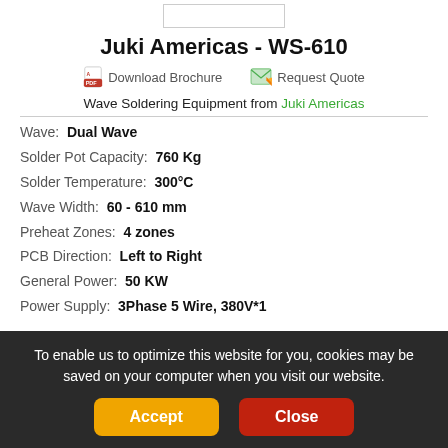[Figure (other): Small image placeholder rectangle at the top of the page]
Juki Americas - WS-610
Download Brochure   Request Quote
Wave Soldering Equipment from Juki Americas
Wave: Dual Wave
Solder Pot Capacity: 760 Kg
Solder Temperature: 300°C
Wave Width: 60 - 610 mm
Preheat Zones: 4 zones
PCB Direction: Left to Right
General Power: 50 KW
Power Supply: 3Phase 5 Wire, 380V*1
To enable us to optimize this website for you, cookies may be saved on your computer when you visit our website.